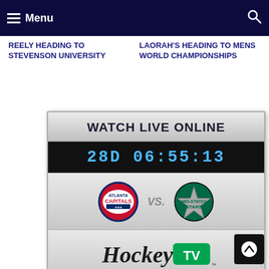Menu
REELY HEADING TO STEVENSON UNIVERSITY
LAORAH'S HEADING TO MENS WORLD CHAMPIONSHIPS
[Figure (screenshot): Watch Live Online widget showing Atlanta Capitals vs Stars game countdown 28D 06:55:13 on HockeyTV with click to watch www.hockeytv.com]
CLICK TO WATCH: WWW.HOCKEYTV.COM